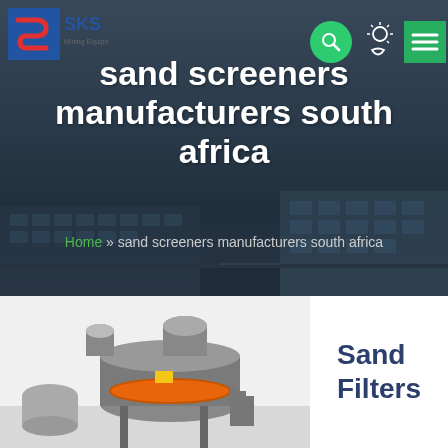[Figure (screenshot): SKS company logo with red and blue S-shaped emblem and SKS text in blue]
[Figure (screenshot): Navigation icons: green circular search icon, sun/moon theme toggle icon, green hamburger menu icon]
sand screeners manufacturers south africa
Home » sand screeners manufacturers south africa
[Figure (photo): Industrial sand/mineral processing machine with orange and grey components, large cylindrical body, photographed from ground level against white background]
Sand Filters